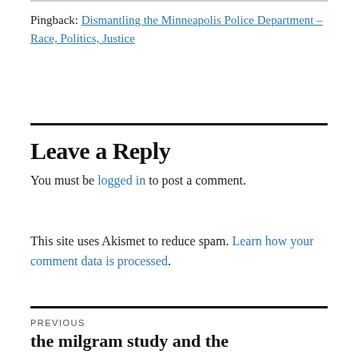Pingback: Dismantling the Minneapolis Police Department – Race, Politics, Justice
Leave a Reply
You must be logged in to post a comment.
This site uses Akismet to reduce spam. Learn how your comment data is processed.
PREVIOUS
the milgram study and the